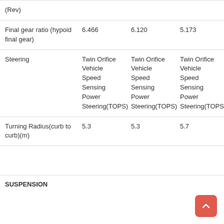|  |  |  |  |
| --- | --- | --- | --- |
| (Rev) |  |  |  |
| Final gear ratio (hypoid final gear) | 6.466 | 6.120 | 5.173 |
| Steering | Twin Orifice Vehicle Speed Sensing Power Steering(TOPS) | Twin Orifice Vehicle Speed Sensing Power Steering(TOPS) | Twin Orifice Vehicle Speed Sensing Power Steering(TOPS) |
| Turning Radius(curb to curb)(m) | 5.3 | 5.3 | 5.7 |
|  |  |  |  |
SUSPENSION